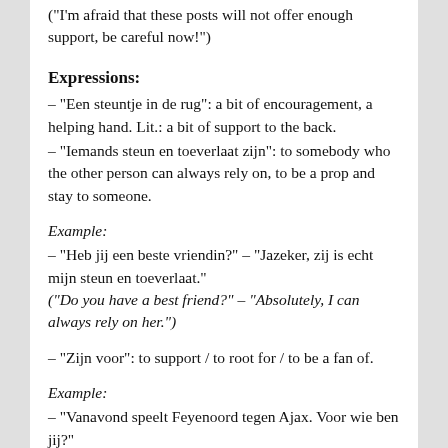("I'm afraid that these posts will not offer enough support, be careful now!")
Expressions:
– "Een steuntje in de rug": a bit of encouragement, a helping hand. Lit.: a bit of support to the back.
– "Iemands steun en toeverlaat zijn": to somebody who the other person can always rely on, to be a prop and stay to someone.
Example:
– "Heb jij een beste vriendin?" – "Jazeker, zij is echt mijn steun en toeverlaat."
("Do you have a best friend?" – "Absolutely, I can always rely on her.")
– "Zijn voor": to support / to root for / to be a fan of.
Example:
– "Vanavond speelt Feyenoord tegen Ajax. Voor wie ben jij?"
("Tonight Feyenoord plays against Ajax. Who do you root for / who do you support?")